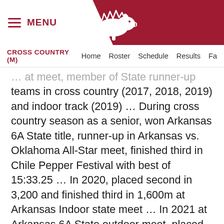MENU | Arkansas Razorbacks Cross Country (M) — Home Roster Schedule Results Fa
... times at meet, member of State runner-up teams in cross country (2017, 2018, 2019) and indoor track (2019) … During cross country season as a senior, won Arkansas 6A State title, runner-up in Arkansas vs. Oklahoma All-Star meet, finished third in Chile Pepper Festival with best of 15:33.25 … In 2020, placed second in 3,200 and finished third in 1,600m at Arkansas Indoor state meet … In 2021 at Arkansas 6A State outdoor meet, placed fourth in 3,200m and fifth in 1,600m … Won 3,200m in PR of